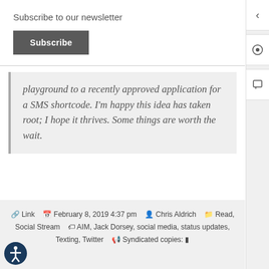Subscribe to our newsletter
Subscribe
playground to a recently approved application for a SMS shortcode. I'm happy this idea has taken root; I hope it thrives. Some things are worth the wait.
Link  February 8, 2019 4:37 pm  Chris Aldrich  Read, Social Stream  AIM, Jack Dorsey, social media, status updates, Texting, Twitter  Syndicated copies: